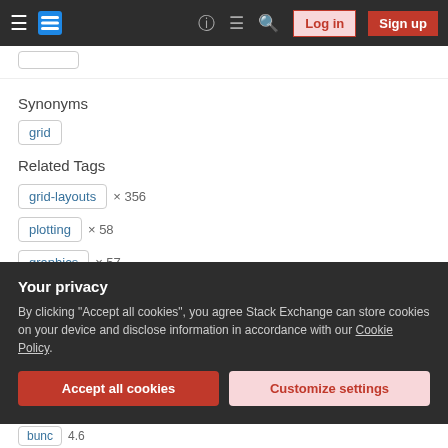Stack Exchange navigation bar with Log in and Sign up buttons
Synonyms
grid
Related Tags
grid-layouts × 356
plotting × 58
graphics × 57
output-formatting × 54
Your privacy
By clicking "Accept all cookies", you agree Stack Exchange can store cookies on your device and disclose information in accordance with our Cookie Policy.
Accept all cookies   Customize settings